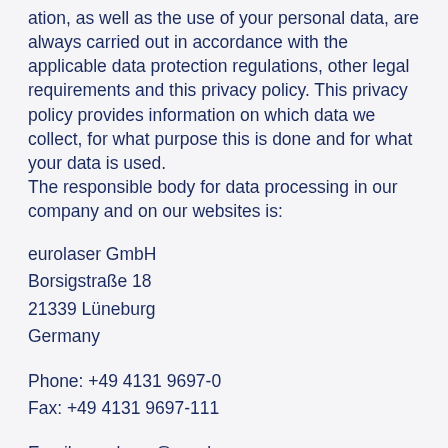ation, as well as the use of your personal data, are always carried out in accordance with the applicable data protection regulations, other legal requirements and this privacy policy. This privacy policy provides information on which data we collect, for what purpose this is done and for what your data is used. The responsible body for data processing in our company and on our websites is:
eurolaser GmbH
Borsigstraße 18
21339 Lüneburg
Germany
Phone: +49 4131 9697-0
Fax: +49 4131 9697-111
Email: eurolaser@eurolaser.com
Managing Director: Matthias Kluczinski